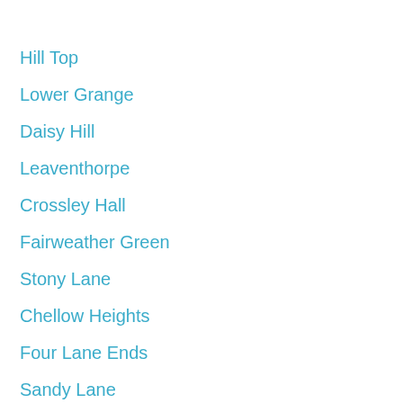Hill Top
Lower Grange
Daisy Hill
Leaventhorpe
Crossley Hall
Fairweather Green
Stony Lane
Chellow Heights
Four Lane Ends
Sandy Lane
Coarse Side